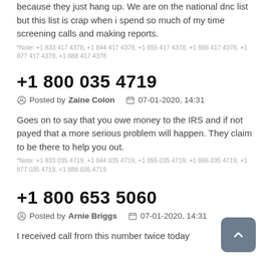because they just hang up. We are on the national dnc list but this list is crap when i spend so much of my time screening calls and making reports.
*Note: +1 833 417 4378, +1 844 417 4378, +1 855 417 4378, +1 866 417 4378, +1 877 417 4378, +1 888 417 4378
+1 800 035 4719
Posted by Zaine Colon   07-01-2020, 14:31
Goes on to say that you owe money to the IRS and if not payed that a more serious problem will happen. They claim to be there to help you out.
*Note: +1 833 035 4719, +1 844 035 4719, +1 855 035 4719, +1 866 035 4719, +1 877 035 4719, +1 888 035 4719
+1 800 653 5060
Posted by Arnie Briggs   07-01-2020, 14:31
I received call from this number twice today